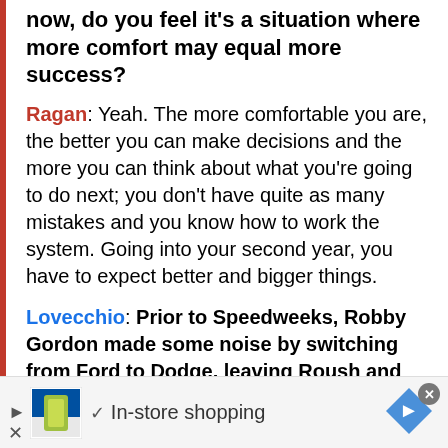now, do you feel it's a situation where more comfort may equal more success?
Ragan: Yeah. The more comfortable you are, the better you can make decisions and the more you can think about what you're going to do next; you don't have quite as many mistakes and you know how to work the system. Going into your second year, you have to expect better and bigger things.
Lovecchio: Prior to Speedweeks, Robby Gordon made some noise by switching from Ford to Dodge, leaving Roush and Yates as the two major teams
[Figure (infographic): Advertisement banner: Lidl logo with green/red branding and bottle graphic, checkmark icon, 'In-store shopping' text, blue diamond navigation arrow, close X button]